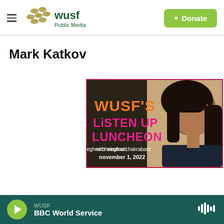WUSF Public Media — Donate
Mark Katkov
[Figure (photo): WUSF Listen Up Luncheon promotional image with Meghna Chakrabarti, november 1, 2022]
WUSF — BBC World Service (audio player bar)